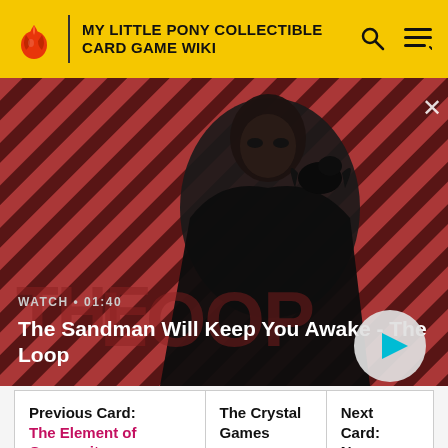MY LITTLE PONY COLLECTIBLE CARD GAME WIKI
[Figure (screenshot): Video banner showing a dark-cloaked figure with a raven on his shoulder against a red diagonal striped background. Text overlay: WATCH • 01:40 / The Sandman Will Keep You Awake - The Loop. Play button circle on right.]
| Previous Card: | The Crystal Games | Next Card: |
| --- | --- | --- |
| The Element of Generosity, A Beautiful Heart |  | None |